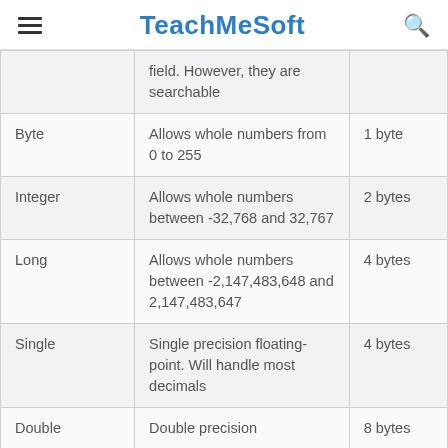TeachMeSoft
| Data Type | Description | Storage |
| --- | --- | --- |
|  | field. However, they are searchable |  |
| Byte | Allows whole numbers from 0 to 255 | 1 byte |
| Integer | Allows whole numbers between -32,768 and 32,767 | 2 bytes |
| Long | Allows whole numbers between -2,147,483,648 and 2,147,483,647 | 4 bytes |
| Single | Single precision floating-point. Will handle most decimals | 4 bytes |
| Double | Double precision | 8 bytes |